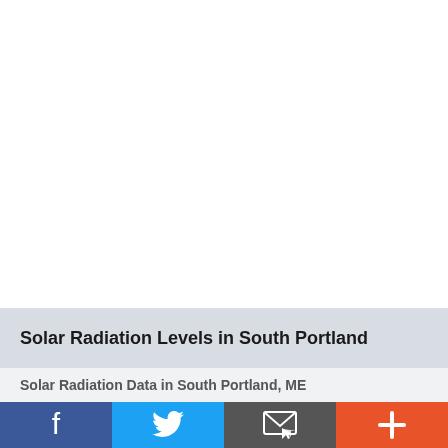Solar Radiation Levels in South Portland
Solar Radiation Data in South Portland, ME
[Figure (other): Social share buttons: Facebook, Twitter, Email, More (+)]